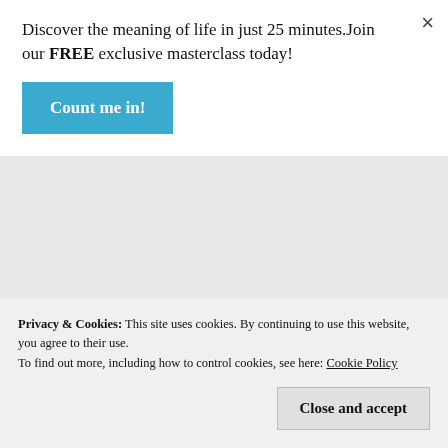Discover the meaning of life in just 25 minutes.Join our FREE exclusive masterclass today!
Count me in!
God created a piece of meat with both saturated and poly-unsaturated fats in it.
God said the fat around the kidneys and liver for himself.
In 1970, the government, being pushed by
Privacy & Cookies: This site uses cookies. By continuing to use this website, you agree to their use.
To find out more, including how to control cookies, see here: Cookie Policy
Close and accept
The vegetarian and vegan diets followed